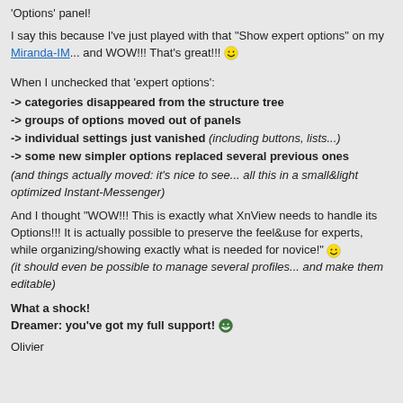'Options' panel!
I say this because I've just played with that "Show expert options" on my Miranda-IM... and WOW!!! That's great!!!
When I unchecked that 'expert options':
-> categories disappeared from the structure tree
-> groups of options moved out of panels
-> individual settings just vanished (including buttons, lists...)
-> some new simpler options replaced several previous ones
(and things actually moved: it's nice to see... all this in a small&light optimized Instant-Messenger)
And I thought "WOW!!! This is exactly what XnView needs to handle its Options!!! It is actually possible to preserve the feel&use for experts, while organizing/showing exactly what is needed for novice!" (it should even be possible to manage several profiles... and make them editable)
What a shock!
Dreamer: you've got my full support!
Olivier